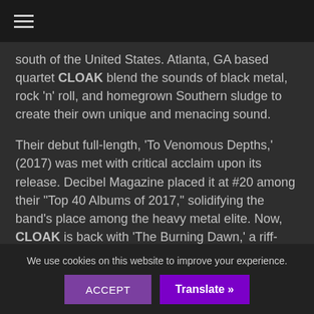≡
south of the United States. Atlanta, GA based quartet CLOAK blend the sounds of black metal, rock 'n' roll, and homegrown Southern sludge to create their own unique and menacing sound.
Their debut full-length, 'To Venomous Depths,' (2017) was met with critical acclaim upon its release. Decibel Magazine placed it at #20 among their "Top 40 Albums of 2017," solidifying the band's place among the heavy metal elite. Now, CLOAK is back with 'The Burning Dawn,' a riff-heavy and groove-laden follow-up that proves the band are still rife with fresh ideas.
We use cookies on this website to improve your experience.
ACCEPT
Translate »